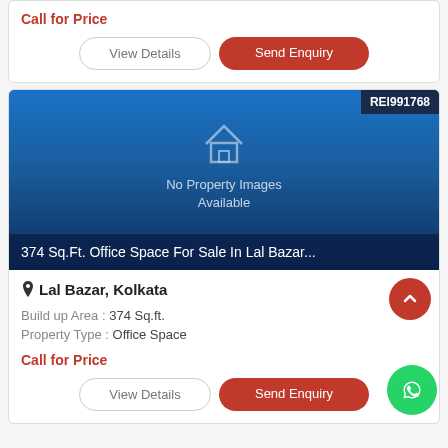Call for Price
View Details
Send Enquiry
[Figure (illustration): No Property Images Available placeholder with house icon and REI991768 badge. Property title: 374 Sq.Ft. Office Space For Sale In Lal Bazar...]
Lal Bazar, Kolkata
Build up Area : 374 Sq.ft.
Property Type : Office Space
Call for Price
View Details
Send Enquiry